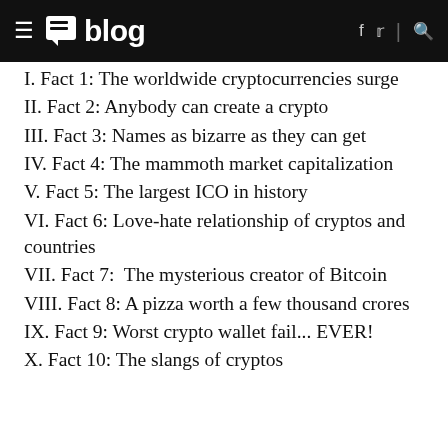≡ blog  f  𝕥  |  🔍
I. Fact 1: The worldwide cryptocurrencies surge
II. Fact 2: Anybody can create a crypto
III. Fact 3: Names as bizarre as they can get
IV. Fact 4: The mammoth market capitalization
V. Fact 5: The largest ICO in history
VI. Fact 6: Love-hate relationship of cryptos and countries
VII. Fact 7:  The mysterious creator of Bitcoin
VIII. Fact 8: A pizza worth a few thousand crores
IX. Fact 9: Worst crypto wallet fail... EVER!
X. Fact 10: The slangs of cryptos